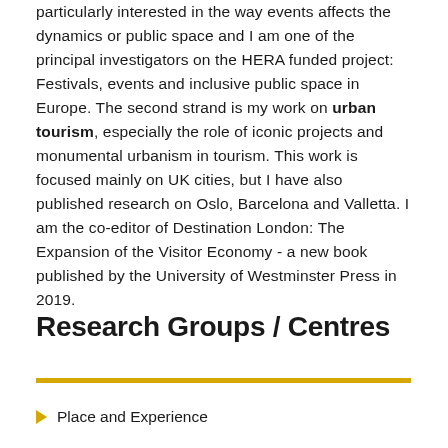particularly interested in the way events affects the dynamics or public space and I am one of the principal investigators on the HERA funded project: Festivals, events and inclusive public space in Europe. The second strand is my work on urban tourism, especially the role of iconic projects and monumental urbanism in tourism. This work is focused mainly on UK cities, but I have also published research on Oslo, Barcelona and Valletta. I am the co-editor of Destination London: The Expansion of the Visitor Economy - a new book published by the University of Westminster Press in 2019.
Research Groups / Centres
Place and Experience